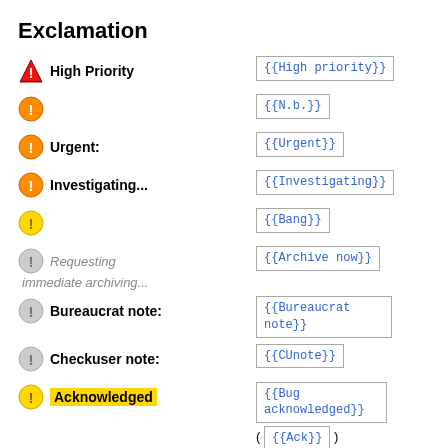Exclamation
High Priority — {{High priority}}
{{N.b.}}
Urgent: — {{Urgent}}
Investigating... — {{Investigating}}
{{Bang}}
Requesting immediate archiving... — {{Archive now}}
Bureaucrat note: — {{Bureaucrat note}}
Checkuser note: — {{CUnote}}
Acknowledged — {{Bug acknowledged}} ( {{Ack}} )
Confirmed — {{Bug confirmed}}